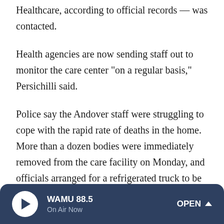Healthcare, according to official records — was contacted.
Health agencies are now sending staff out to monitor the care center "on a regular basis," Persichilli said.
Police say the Andover staff were struggling to cope with the rapid rate of deaths in the home. More than a dozen bodies were immediately removed from the care facility on Monday, and officials arranged for a refrigerated truck to be brought to the nursing facility to be used as an overflow morgue.
The two Subacute buildings sit across the street from each other in Andover, about 55 miles northwest of New York City.
WAMU 88.5 On Air Now OPEN